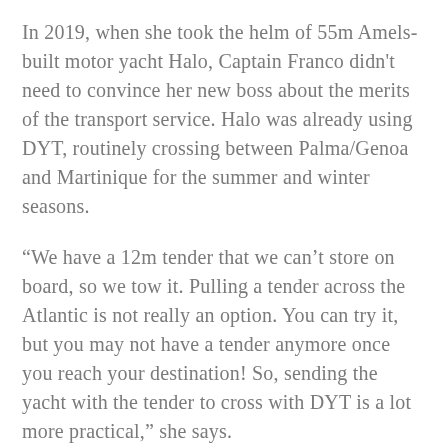In 2019, when she took the helm of 55m Amels-built motor yacht Halo, Captain Franco didn't need to convince her new boss about the merits of the transport service. Halo was already using DYT, routinely crossing between Palma/Genoa and Martinique for the summer and winter seasons.
“We have a 12m tender that we can’t store on board, so we tow it. Pulling a tender across the Atlantic is not really an option. You can try it, but you may not have a tender anymore once you reach your destination! So, sending the yacht with the tender to cross with DYT is a lot more practical,” she says.